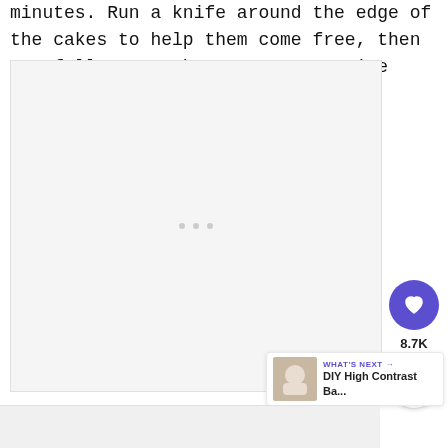minutes. Run a knife around the edge of the cakes to help them come free, then carefully turn them out onto a wire rack.
[Figure (photo): Large light gray image placeholder with three small gray dots centered, indicating a loading or placeholder image area.]
[Figure (infographic): Sidebar UI elements: purple circular heart/favorite button, '8.7K' count label, white circular share button with share icon.]
[Figure (screenshot): 'WHAT'S NEXT →' label in purple with 'DIY High Contrast Ba...' title and a small thumbnail image of a baby-related item.]
[Figure (photo): Partial light gray image area at the very bottom of the page, partially cut off.]